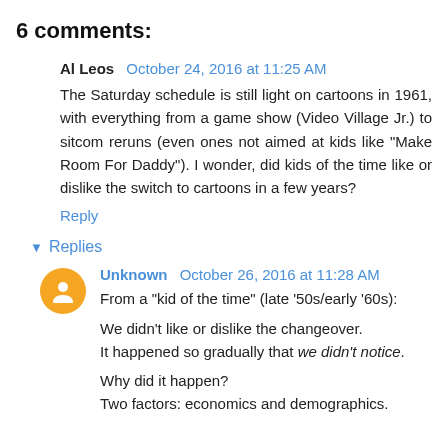6 comments:
Al Leos  October 24, 2016 at 11:25 AM
The Saturday schedule is still light on cartoons in 1961, with everything from a game show (Video Village Jr.) to sitcom reruns (even ones not aimed at kids like "Make Room For Daddy"). I wonder, did kids of the time like or dislike the switch to cartoons in a few years?
Reply
Replies
Unknown  October 26, 2016 at 11:28 AM
From a "kid of the time" (late '50s/early '60s):

We didn't like or dislike the changeover.
It happened so gradually that we didn't notice.

Why did it happen?
Two factors: economics and demographics.